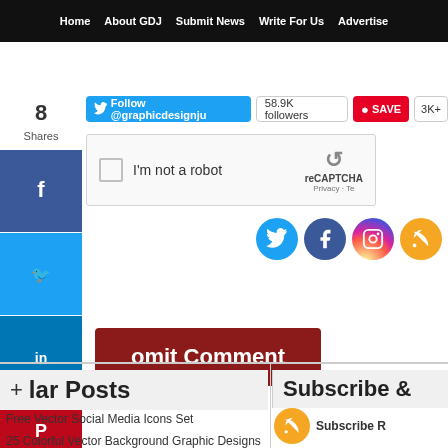Home | About GDJ | Submit News | Write For Us | Advertise
8 Shares
Follow @graphicdesignju | 58.9K followers | SAVE | 3K+
[Figure (screenshot): reCAPTCHA widget with 'I'm not a robot' checkbox]
[Figure (screenshot): Social media icons: Twitter, Facebook, Instagram, RSS]
Submit Comment
us Post
The Age of Digital – 7 Trends That Will Digital Marketing in 2019
42 Creative
lar Posts
Subscribe &
Free Vector Social Media Icons Set
25 Colorful Vector Background Graphic Designs
Subscribe R
[Figure (screenshot): RSS subscribe icon orange circle]